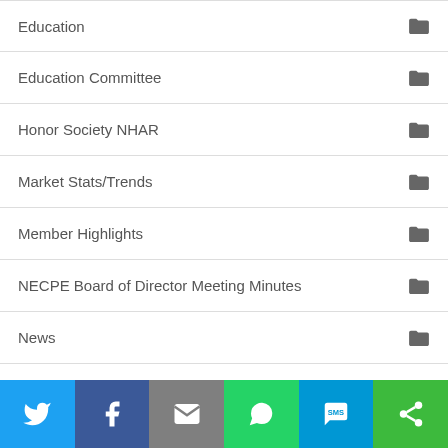Education
Education Committee
Honor Society NHAR
Market Stats/Trends
Member Highlights
NECPE Board of Director Meeting Minutes
News
NH Commercial Real Estate Awards
[Figure (infographic): Social sharing bar with Twitter, Facebook, Email, WhatsApp, SMS, and Share buttons]